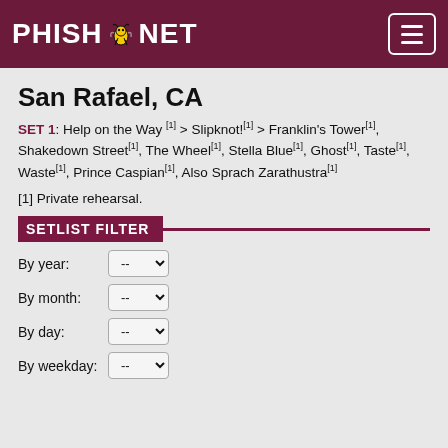PHISH.NET
San Rafael, CA
SET 1: Help on the Way[1] > Slipknot![1] > Franklin's Tower[1], Shakedown Street[1], The Wheel[1], Stella Blue[1], Ghost[1], Taste[1], Waste[1], Prince Caspian[1], Also Sprach Zarathustra[1]
[1] Private rehearsal.
SETLIST FILTER
By year: --
By month: --
By day: --
By weekday: --